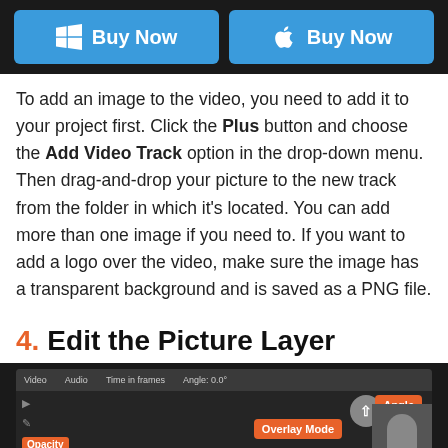[Figure (screenshot): Two blue 'Buy Now' buttons side by side — one with a Windows logo icon, one with an Apple logo icon — on a dark background]
To add an image to the video, you need to add it to your project first. Click the Plus button and choose the Add Video Track option in the drop-down menu. Then drag-and-drop your picture to the new track from the folder in which it's located. You can add more than one image if you need to. If you want to add a logo over the video, make sure the image has a transparent background and is saved as a PNG file.
4. Edit the Picture Layer
[Figure (screenshot): Screenshot of a video editing software interface showing Video, Audio, and other tracks with Opacity, Overlay Mode, and Angle labels highlighted in orange]